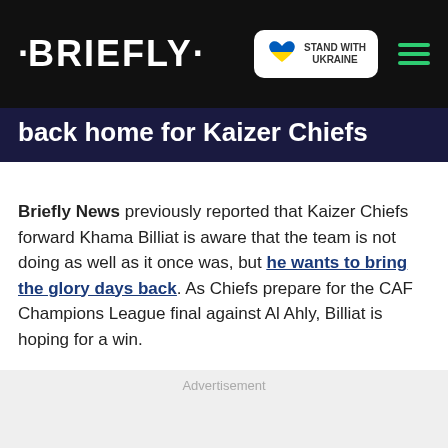· BRIEFLY ·
back home for Kaizer Chiefs
Briefly News previously reported that Kaizer Chiefs forward Khama Billiat is aware that the team is not doing as well as it once was, but he wants to bring the glory days back. As Chiefs prepare for the CAF Champions League final against Al Ahly, Billiat is hoping for a win.
Advertisement